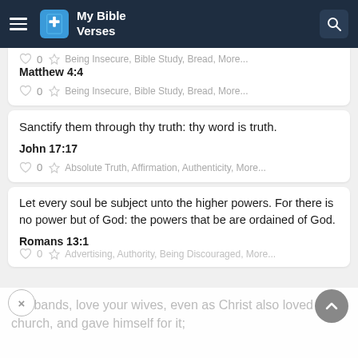My Bible Verses
Matthew 4:4
♡ 0  Being Insecure, Bible Study, Bread, More...
Sanctify them through thy truth: thy word is truth.
John 17:17
♡ 0  Absolute Truth, Affirmation, Authenticity, More...
Let every soul be subject unto the higher powers. For there is no power but of God: the powers that be are ordained of God.
Romans 13:1
♡ 0  Advertising, Authority, Being Discouraged, More...
Husbands, love your wives, even as Christ also loved the church, and gave himself for it;